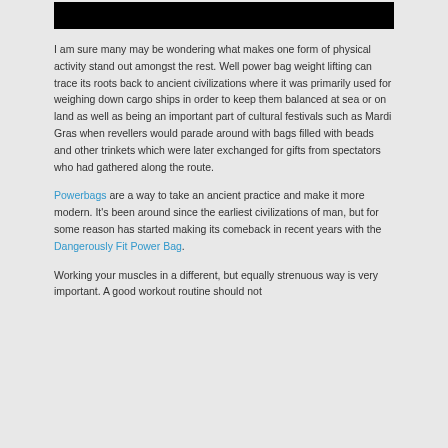[Figure (photo): Black rectangular image bar at the top of the page]
I am sure many may be wondering what makes one form of physical activity stand out amongst the rest. Well power bag weight lifting can trace its roots back to ancient civilizations where it was primarily used for weighing down cargo ships in order to keep them balanced at sea or on land as well as being an important part of cultural festivals such as Mardi Gras when revellers would parade around with bags filled with beads and other trinkets which were later exchanged for gifts from spectators who had gathered along the route.
Powerbags are a way to take an ancient practice and make it more modern. It's been around since the earliest civilizations of man, but for some reason has started making its comeback in recent years with the Dangerously Fit Power Bag.
Working your muscles in a different, but equally strenuous way is very important. A good workout routine should not